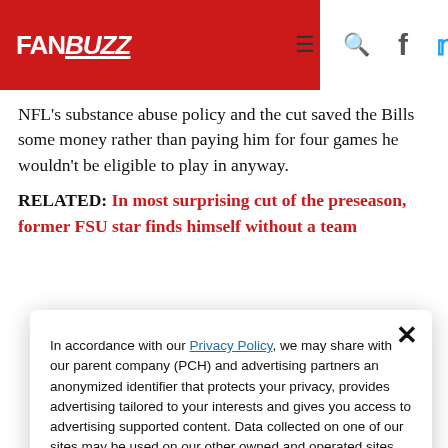FANBUZZ
NFL’s substance abuse policy and the cut saved the Bills some money rather than paying him for four games he wouldn’t be eligible to play in anyway.
RELATED: In most surprising cut of the preseason, former FSU star finds himself without a team
In accordance with our Privacy Policy, we may share with our parent company (PCH) and advertising partners an anonymized identifier that protects your privacy, provides advertising tailored to your interests and gives you access to advertising supported content. Data collected on one of our sites may be used on our other owned and operated sites, which sites are identified in our Privacy Policy. All of our sites are governed by the same Privacy Policy, and by proceeding to access this site, you are consenting to that Privacy Policy.